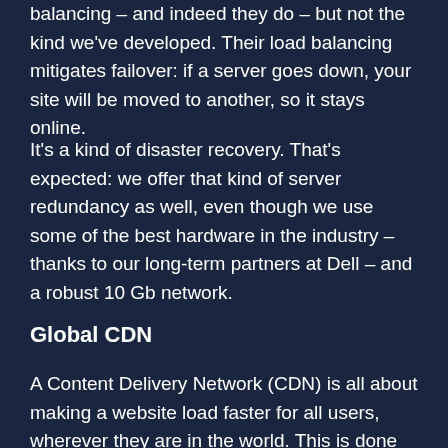balancing – and indeed they do – but not the kind we've developed. Their load balancing mitigates failover: if a server goes down, your site will be moved to another, so it stays online.
It's a kind of disaster recovery. That's expected: we offer that kind of server redundancy as well, even though we use some of the best hardware in the industry – thanks to our long-term partners at Dell – and a robust 10 Gb network.
Global CDN
A Content Delivery Network (CDN) is all about making a website load faster for all users, wherever they are in the world. This is done by